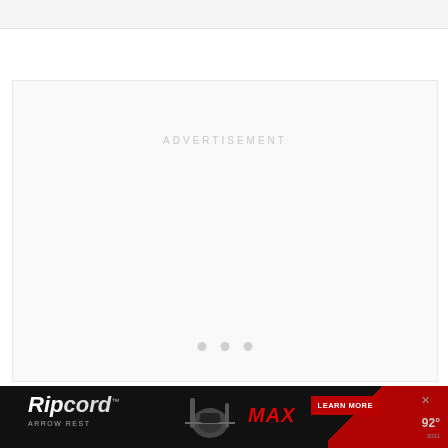[Figure (other): Top navigation/header bar, light gray background]
ADVERTISEMENT
[Figure (other): Advertisement placeholder area with three dots at bottom center]
[Figure (other): Ripcord Arrow Rest advertisement banner at bottom. Shows Ripcord logo, arrow rest product image, MAX text in red, LEARN MORE button, and weather temperature info on right side.]